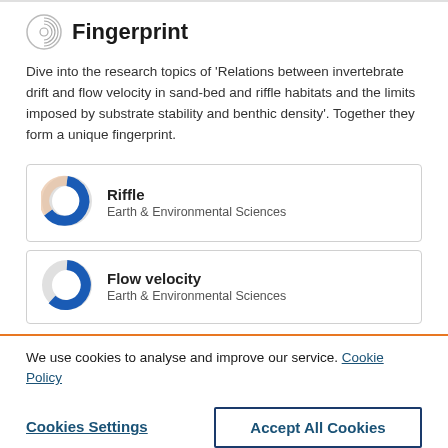Fingerprint
Dive into the research topics of 'Relations between invertebrate drift and flow velocity in sand-bed and riffle habitats and the limits imposed by substrate stability and benthic density'. Together they form a unique fingerprint.
Riffle
Earth & Environmental Sciences
Flow velocity
Earth & Environmental Sciences
We use cookies to analyse and improve our service. Cookie Policy
Cookies Settings
Accept All Cookies